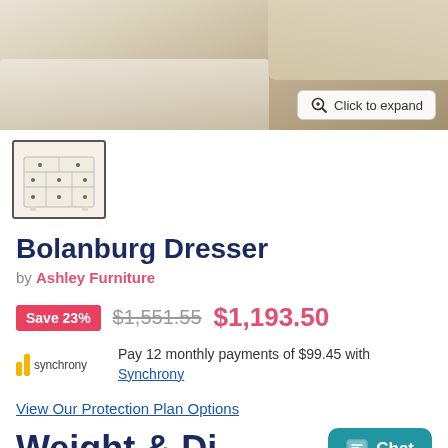[Figure (photo): Main product image showing a white/cream dresser or bed furniture piece on a light wood floor with white textured rug, with a 'Click to expand' button overlay]
[Figure (photo): Thumbnail image of Bolanburg Dresser — white/cream dresser with multiple drawers and dark hardware knobs]
Bolanburg Dresser
by Ashley Furniture
Save 23%  $1,551.55  $1,193.50
Pay 12 monthly payments of $99.45 with Synchrony
View Our Protection Plan Options
Weight & Dim...